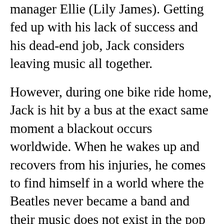manager Ellie (Lily James). Getting fed up with his lack of success and his dead-end job, Jack considers leaving music all together.
However, during one bike ride home, Jack is hit by a bus at the exact same moment a blackout occurs worldwide. When he wakes up and recovers from his injuries, he comes to find himself in a world where the Beatles never became a band and their music does not exist in the pop culture landscape. Seeing an opportunity, Jack starts singing the songs and claims credit for the work, which of course leads him to his own fair share of fame.
Advertisements
[Figure (logo): Dark navy/black advertisement banner with WordPress logo (white circle with W)]